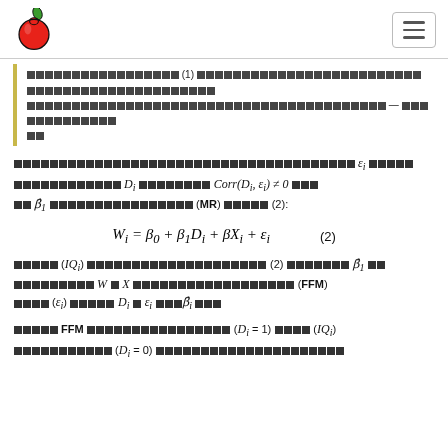[Apple logo] [Hamburger menu]
Thai text block with reference (1) — Thai text continuing on multiple lines
Thai text ... ε_i ... D_i ... Corr(D_i, ε_i) ≠ 0 ... β̂_1 ... (MR) ... (2):
Thai text (IQ_i) ... (2) ... β̂_1 ... W and X ... (FFM) ... (ε_i) ... D_i and ε_i ... β̂_i ...
Thai text FFM ... (D_i = 1) ... (IQ_i) ... (D_i = 0) Thai text ...